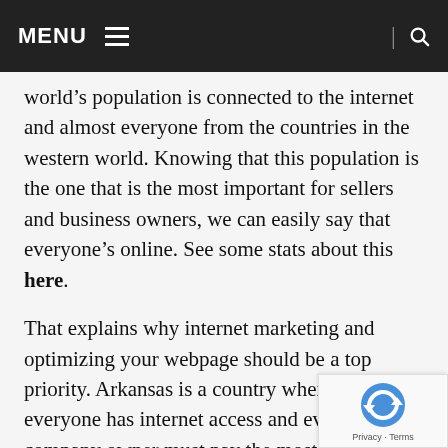MENU
world’s population is connected to the internet and almost everyone from the countries in the western world. Knowing that this population is the one that is the most important for sellers and business owners, we can easily say that everyone’s online. See some stats about this here.
That explains why internet marketing and optimizing your webpage should be a top priority. Arkansas is a country where almost everyone has internet access and every company owner must pay the most possible attention to these details.
What is needed for the best business growth is using SEO for your website? If you don’t know how this should be done, take a look at the points below and learn all about it!